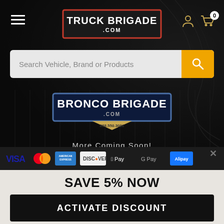[Figure (logo): Truck Brigade .com logo in red bordered rectangle with white text on dark background]
[Figure (screenshot): Search bar with placeholder 'Search Vehicle, Brand or Products' and orange search button]
[Figure (logo): Bronco Brigade .com logo in blue bordered rectangle with navy background]
More Coming Soon!
[Figure (infographic): Payment method icons: VISA, Mastercard, American Express, Discover, Apple Pay, Google Pay, Alipay]
SAVE 5% NOW
ACTIVATE DISCOUNT